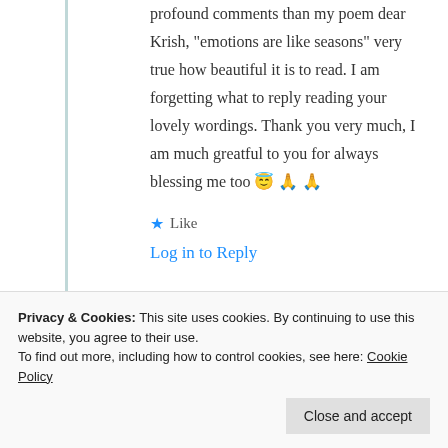profound comments than my poem dear Krish, "emotions are like seasons" very true how beautiful it is to read. I am forgetting what to reply reading your lovely wordings. Thank you very much, I am much greatful to you for always blessing me too 😇 🙏 🙏
★ Like
Log in to Reply
Privacy & Cookies: This site uses cookies. By continuing to use this website, you agree to their use.
To find out more, including how to control cookies, see here: Cookie Policy
Close and accept
25th Aug 2021 at